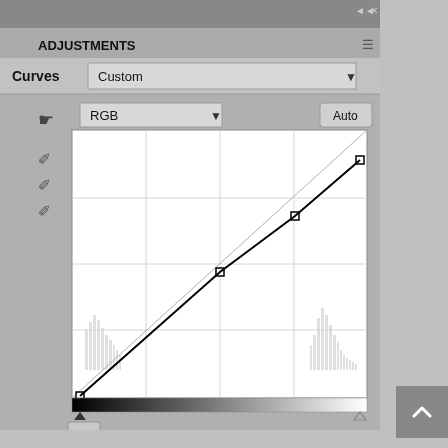[Figure (screenshot): Adobe Photoshop Adjustments panel showing Curves dialog with RGB channel selected, Custom preset, a diagonal curve line with three control points slightly above the default diagonal, a histogram visible in the background, Output and Input fields at the bottom, and various tool icons on the left side.]